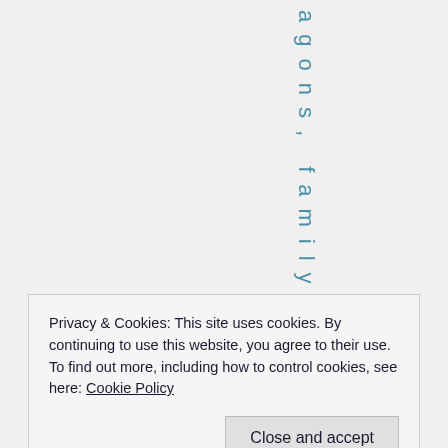agons, family e
Privacy & Cookies: This site uses cookies. By continuing to use this website, you agree to their use.
To find out more, including how to control cookies, see here: Cookie Policy
Close and accept